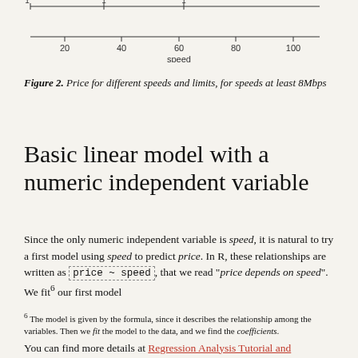[Figure (continuous-plot): Partial top of a chart showing x-axis labeled 'speed' with tick marks at 20, 40, 60, 80, 100, and a horizontal line/axis at the top with tick at 1.]
Figure 2. Price for different speeds and limits, for speeds at least 8Mbps
Basic linear model with a numeric independent variable
Since the only numeric independent variable is speed, it is natural to try a first model using speed to predict price. In R, these relationships are written as price ~ speed, that we read "price depends on speed". We fit⁶ our first model
⁶ The model is given by the formula, since it describes the relationship among the variables. Then we fit the model to the data, and we find the coefficients.
You can find more details at Regression Analysis Tutorial and Examples (The Minitab Blog)